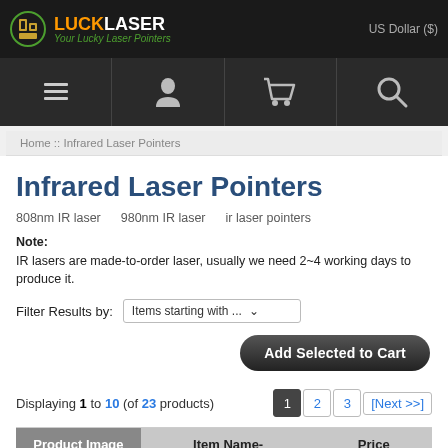LUCKLASER - Your Lucky Laser Pointers | US Dollar ($)
[Figure (screenshot): Navigation bar with menu, account, cart, and search icons]
Home :: Infrared Laser Pointers
Infrared Laser Pointers
808nm IR laser   980nm IR laser   ir laser pointers
Note:
IR lasers are made-to-order laser, usually we need 2~4 working days to produce it.
Filter Results by:   Items starting with ...
Add Selected to Cart
Displaying 1 to 10 (of 23 products)
| Product Image | Item Name- | Price |
| --- | --- | --- |